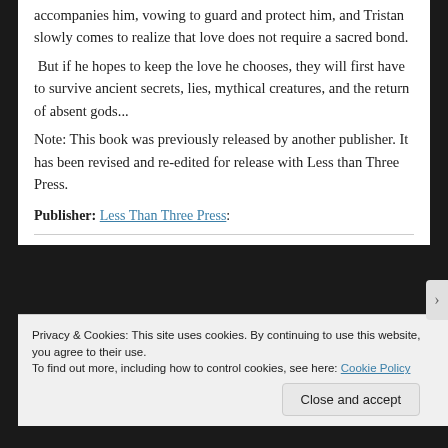accompanies him, vowing to guard and protect him, and Tristan slowly comes to realize that love does not require a sacred bond.
 But if he hopes to keep the love he chooses, they will first have to survive ancient secrets, lies, mythical creatures, and the return of absent gods...
Note: This book was previously released by another publisher. It has been revised and re-edited for release with Less than Three Press.
Publisher: Less Than Three Press:
Privacy & Cookies: This site uses cookies. By continuing to use this website, you agree to their use.
To find out more, including how to control cookies, see here: Cookie Policy
Close and accept